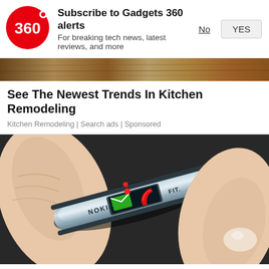[Figure (logo): Gadgets 360 red circle logo with '360' text]
Subscribe to Gadgets 360 alerts
For breaking tech news, latest reviews, and more
No   YES
[Figure (photo): Partial kitchen remodeling photo banner strip]
See The Newest Trends In Kitchen Remodeling
Kitchen Remodeling | Search ads | Sponsored
[Figure (photo): Nokia Fit ring-shaped wearable device being held between two fingers, showing a green envelope icon and red phone icon on its surface, with NOKIA and FIT text visible]